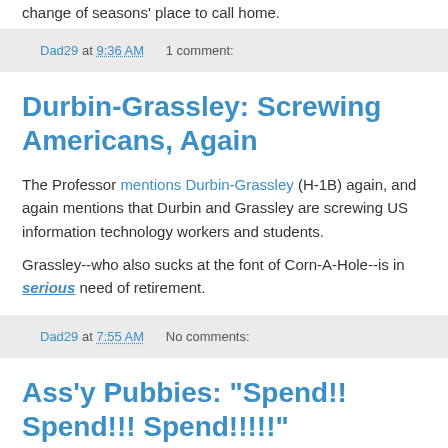change of seasons' place to call home.
Dad29 at 9:36 AM    1 comment:
Durbin-Grassley: Screwing Americans, Again
The Professor mentions Durbin-Grassley (H-1B) again, and again mentions that Durbin and Grassley are screwing US information technology workers and students.
Grassley--who also sucks at the font of Corn-A-Hole--is in serious need of retirement.
Dad29 at 7:55 AM    No comments:
Ass'y Pubbies: "Spend!! Spend!!! Spend!!!!!"